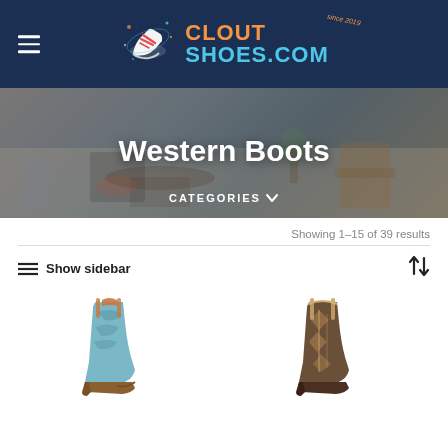CLOUT SHOES.COM
[Figure (photo): Hero banner background showing a modern living room, overlaid with 'Western Boots' title text and 'CATEGORIES' dropdown label]
Western Boots
CATEGORIES ∨
Showing 1–15 of 39 results
≡ Show sidebar
[Figure (photo): Two western cowboy boots partially visible at the bottom of the page — left boot in blue/turquoise pattern, right boot in brown/dark patterned leather]
[Figure (logo): Clout Shoes logo with shoe illustration and orange/cyan text]